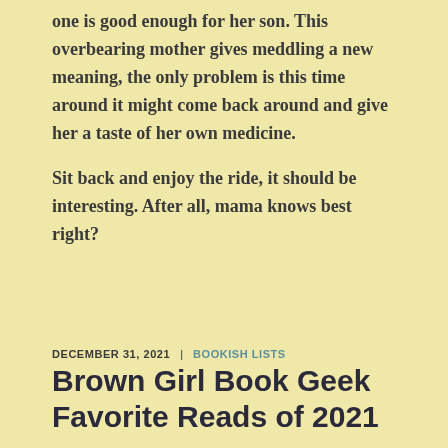one is good enough for her son. This overbearing mother gives meddling a new meaning, the only problem is this time around it might come back around and give her a taste of her own medicine.
Sit back and enjoy the ride, it should be interesting. After all, mama knows best right?
DECEMBER 31, 2021  |  BOOKISH LISTS
Brown Girl Book Geek Favorite Reads of 2021